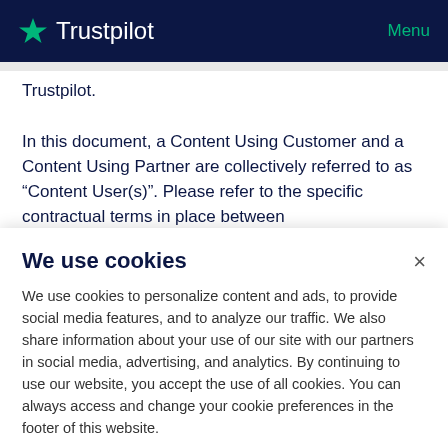Trustpilot  Menu
Trustpilot.
In this document, a Content Using Customer and a Content Using Partner are collectively referred to as “Content User(s)”. Please refer to the specific contractual terms in place between
We use cookies
We use cookies to personalize content and ads, to provide social media features, and to analyze our traffic. We also share information about your use of our site with our partners in social media, advertising, and analytics. By continuing to use our website, you accept the use of all cookies. You can always access and change your cookie preferences in the footer of this website.